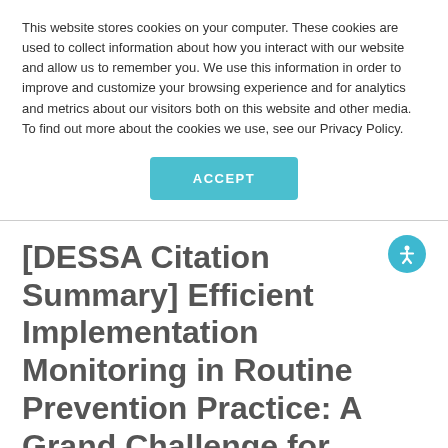This website stores cookies on your computer. These cookies are used to collect information about how you interact with our website and allow us to remember you. We use this information in order to improve and customize your browsing experience and for analytics and metrics about our visitors both on this website and other media. To find out more about the cookies we use, see our Privacy Policy.
ACCEPT
[DESSA Citation Summary] Efficient Implementation Monitoring in Routine Prevention Practice: A Grand Challenge for Schools